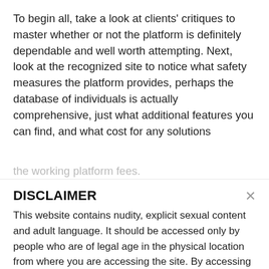To begin all, take a look at clients' critiques to master whether or not the platform is definitely dependable and well worth attempting. Next, look at the recognized site to notice what safety measures the platform provides, perhaps the database of individuals is actually comprehensive, just what additional features you can find, and what cost for any solutions the working platform fees.
DISCLAIMER
This website contains nudity, explicit sexual content and adult language. It should be accessed only by people who are of legal age in the physical location from where you are accessing the site. By accessing this website, you are representing to us that you are of legal age and agree to our Terms & Conditions. Any unauthorized use of this site may violate state, federal and/or foreign law.
While DatingMentor does not create, produce or edit any